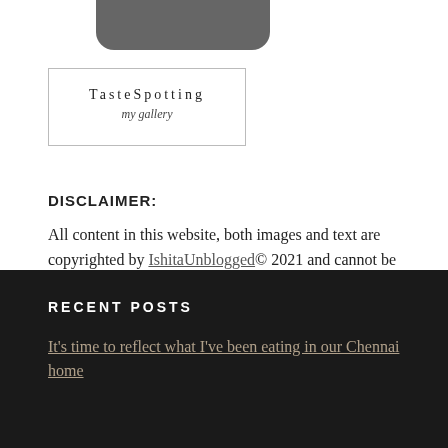[Figure (logo): Partial dark rounded rectangle image at top (cropped)]
[Figure (logo): TasteSpotting my gallery logo box with border]
DISCLAIMER:
All content in this website, both images and text are copyrighted by IshitaUnblogged© 2021 and cannot be used without permission.
RECENT POSTS
It's time to reflect what I've been eating in our Chennai home